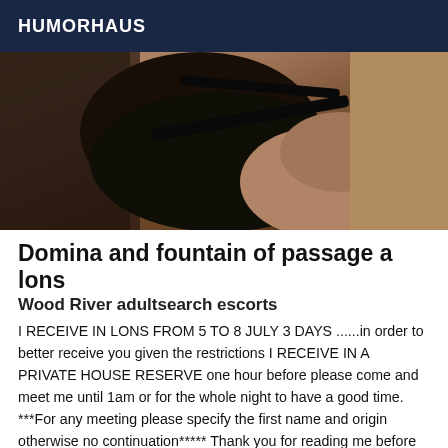HUMORHAUS
[Figure (photo): Close-up photo of a person wearing black lingerie and fishnet stockings, lying on a beige/brown surface]
Domina and fountain of passage a lons
Wood River adultsearch escorts
I RECEIVE IN LONS FROM 5 TO 8 JULY 3 DAYS ......in order to better receive you given the restrictions I RECEIVE IN A PRIVATE HOUSE RESERVE one hour before please come and meet me until 1am or for the whole night to have a good time. ***For any meeting please specify the first name and origin otherwise no continuation***** Thank you for reading me before calling me. Blacklists and disrespected appointments: blacklists are given to several colleagues throughout the